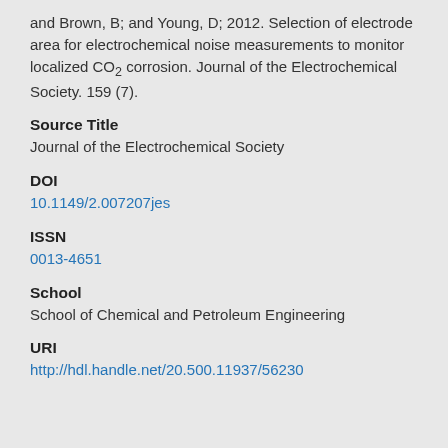and Brown, B; and Young, D; 2012. Selection of electrode area for electrochemical noise measurements to monitor localized CO2 corrosion. Journal of the Electrochemical Society. 159 (7).
Source Title
Journal of the Electrochemical Society
DOI
10.1149/2.007207jes
ISSN
0013-4651
School
School of Chemical and Petroleum Engineering
URI
http://hdl.handle.net/20.500.11937/56230